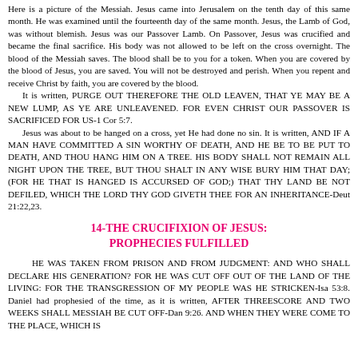Here is a picture of the Messiah. Jesus came into Jerusalem on the tenth day of this same month. He was examined until the fourteenth day of the same month. Jesus, the Lamb of God, was without blemish. Jesus was our Passover Lamb. On Passover, Jesus was crucified and became the final sacrifice. His body was not allowed to be left on the cross overnight. The blood of the Messiah saves. The blood shall be to you for a token. When you are covered by the blood of Jesus, you are saved. You will not be destroyed and perish. When you repent and receive Christ by faith, you are covered by the blood.
  It is written, PURGE OUT THEREFORE THE OLD LEAVEN, THAT YE MAY BE A NEW LUMP, AS YE ARE UNLEAVENED. FOR EVEN CHRIST OUR PASSOVER IS SACRIFICED FOR US-1 Cor 5:7.
  Jesus was about to be hanged on a cross, yet He had done no sin. It is written, AND IF A MAN HAVE COMMITTED A SIN WORTHY OF DEATH, AND HE BE TO BE PUT TO DEATH, AND THOU HANG HIM ON A TREE. HIS BODY SHALL NOT REMAIN ALL NIGHT UPON THE TREE, BUT THOU SHALT IN ANY WISE BURY HIM THAT DAY; (FOR HE THAT IS HANGED IS ACCURSED OF GOD;) THAT THY LAND BE NOT DEFILED, WHICH THE LORD THY GOD GIVETH THEE FOR AN INHERITANCE-Deut 21:22,23.
14-THE CRUCIFIXION OF JESUS: PROPHECIES FULFILLED
HE WAS TAKEN FROM PRISON AND FROM JUDGMENT: AND WHO SHALL DECLARE HIS GENERATION? FOR HE WAS CUT OFF OUT OF THE LAND OF THE LIVING: FOR THE TRANSGRESSION OF MY PEOPLE WAS HE STRICKEN-Isa 53:8. Daniel had prophesied of the time, as it is written, AFTER THREESCORE AND TWO WEEKS SHALL MESSIAH BE CUT OFF-Dan 9:26. AND WHEN THEY WERE COME TO THE PLACE, WHICH IS